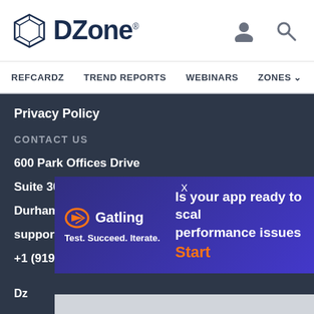DZone. [user icon] [search icon]
REFCARDZ   TREND REPORTS   WEBINARS   ZONES
Privacy Policy
CONTACT US
600 Park Offices Drive
Suite 300
Durham, NC 27709
support@dzone.com
+1 (919) 678-0300
[Figure (other): Social media icons: RSS (orange), Twitter (light blue), Facebook (dark blue), LinkedIn (teal)]
[Figure (other): Gatling ad banner: logo with text 'Test. Succeed. Iterate.' and text 'Is your app ready to scale performance issues Start']
Dz